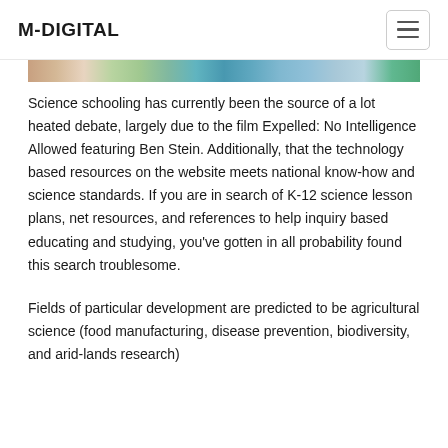M-DIGITAL
[Figure (photo): Partial image strip visible at top of content area, showing colorful photographic content]
Science schooling has currently been the source of a lot heated debate, largely due to the film Expelled: No Intelligence Allowed featuring Ben Stein. Additionally, that the technology based resources on the website meets national know-how and science standards. If you are in search of K-12 science lesson plans, net resources, and references to help inquiry based educating and studying, you've gotten in all probability found this search troublesome.
Fields of particular development are predicted to be agricultural science (food manufacturing, disease prevention, biodiversity, and arid-lands research)